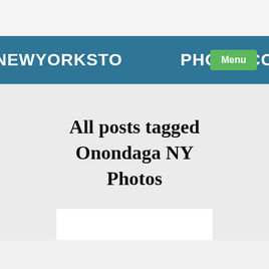NEWYORKSTO[Menu]PHOTO.CO
All posts tagged Onondaga NY Photos